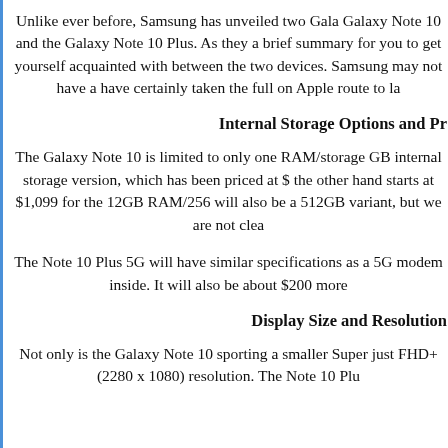Unlike ever before, Samsung has unveiled two Galaxy Note 10 and the Galaxy Note 10 Plus. As they are quite different, here is a brief summary for you to get yourself acquainted with the differences between the two devices. Samsung may not have adopted it, but they have certainly taken the full on Apple route to launching phones.
Internal Storage Options and Pricing
The Galaxy Note 10 is limited to only one RAM/storage configuration, which is the 8GB RAM/256GB internal storage version, which has been priced at $949. The Galaxy Note 10 Plus on the other hand starts at $1,099 for the 12GB RAM/256GB version. There will also be a 512GB variant, but we are not clear on the pricing yet.
The Note 10 Plus 5G will have similar specifications as the regular Note 10 Plus, but with a 5G modem inside. It will also be about $200 more expensive.
Display Size and Resolution
Not only is the Galaxy Note 10 sporting a smaller Super AMOLED display, it is limited to just FHD+ (2280 x 1080) resolution. The Note 10 Plus on the other hand...